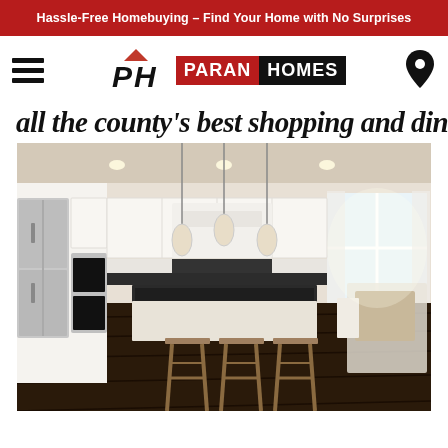Hassle-Free Homebuying – Find Your Home with No Surprises
[Figure (logo): Paran Homes navigation bar with hamburger menu, PH logo, PARAN HOMES wordmark, and location pin icon]
all the county's best shopping and dining.
[Figure (photo): Interior photo of a modern kitchen with white cabinets, stainless steel appliances, dark countertops, pendant lights, kitchen island with bar stools, and a dining area in the background]